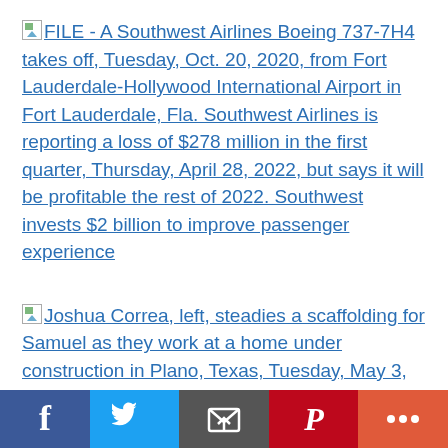[Figure (other): Broken image placeholder icon followed by hyperlinked text: FILE - A Southwest Airlines Boeing 737-7H4 takes off, Tuesday, Oct. 20, 2020, from Fort Lauderdale-Hollywood International Airport in Fort Lauderdale, Fla. Southwest Airlines is reporting a loss of $278 million in the first quarter, Thursday, April 28, 2022, but says it will be profitable the rest of 2022. Southwest invests $2 billion to improve passenger experience]
[Figure (other): Broken image placeholder icon followed by hyperlinked text: Joshua Correa, left, steadies a scaffolding for Samuel as they work at a home under construction in Plano, Texas, Tuesday, May 3...]
[Figure (other): Social sharing bar with Facebook, Twitter, Email, Pinterest, and More buttons]